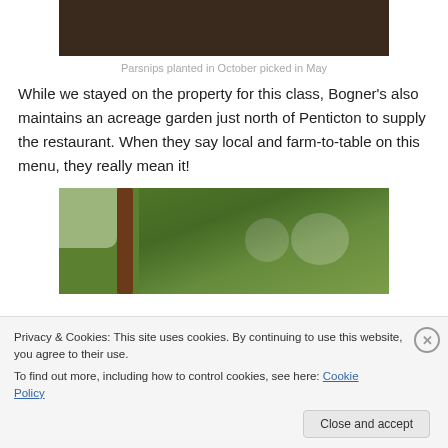[Figure (photo): Partial top of an image with dark brown background, likely soil or wood]
Parsnips planted in October picked in May
While we stayed on the property for this class, Bogner’s also maintains an acreage garden just north of Penticton to supply the restaurant. When they say local and farm-to-table on this menu, they really mean it!
[Figure (photo): Outdoor garden scene with green hedges, dark wooden post, and white chairs visible in background]
Privacy & Cookies: This site uses cookies. By continuing to use this website, you agree to their use.
To find out more, including how to control cookies, see here: Cookie Policy
Close and accept